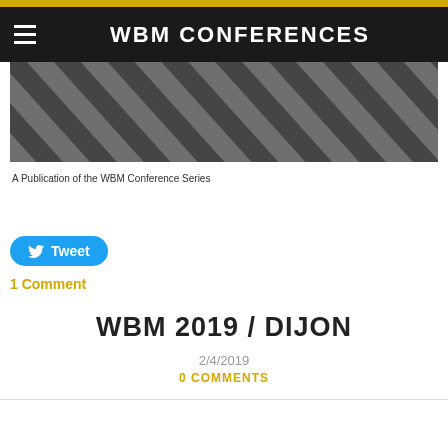WBM CONFERENCES
[Figure (photo): Black and white diagonal striped texture photo used as banner image]
A Publication of the WBM Conference Series
Tweet
1 Comment
WBM 2019 / DIJON
2/4/2019
0 COMMENTS